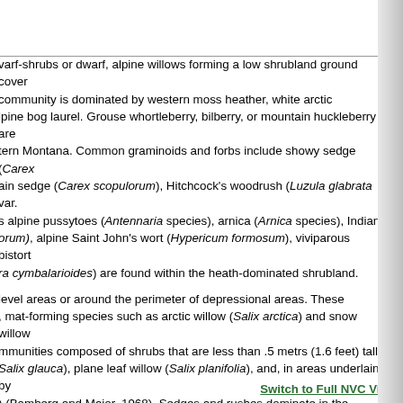dwarf-shrubs or dwarf, alpine willows forming a low shrubland ground cover community is dominated by western moss heather, white arctic alpine bog laurel. Grouse whortleberry, bilberry, or mountain huckleberry are tern Montana. Common graminoids and forbs include showy sedge (Carex ain sedge (Carex scopulorum), Hitchcock's woodrush (Luzula glabrata var. s alpine pussytoes (Antennaria species), arnica (Arnica species), Indian orum), alpine Saint John's wort (Hypericum formosum), viviparous bistort ra cymbalarioides) are found within the heath-dominated shrubland.
level areas or around the perimeter of depressional areas. These mat-forming species such as arctic willow (Salix arctica) and snow willow mmunities composed of shrubs that are less than .5 metrs (1.6 feet) tall Salix glauca), plane leaf willow (Salix planifolia), and, in areas underlain by ) (Bamberg and Major, 1968). Sedges and rushes dominate in the after snowmelt. These areas are species poor and are dominated by black lii) and tufted hairgrass (Deschampsia cespitosa) or purple mountain nbens), Ross' avens (Geum rossii), and marsh marigold (Caltha leptosepala) e dwarf shrublands occur as distinct patch types within Rocky Mountain ne Wet Meadows or at the upper elevational limit of Rocky Mountain
Switch to Full NVC View